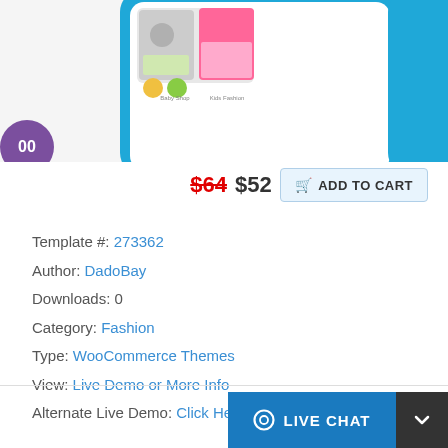[Figure (screenshot): Top portion of a mobile app/website screenshot showing a toy/kids store WooCommerce theme on a phone mockup with blue border, displaying children's products including toys, baby items, and colorful product grids. A purple circular badge partially visible on the left showing '00'.]
$64 $52  ADD TO CART
Template #: 273362
Author: DadoBay
Downloads: 0
Category: Fashion
Type: WooCommerce Themes
View: Live Demo or More Info
Alternate Live Demo: Click Here
LIVE CHAT